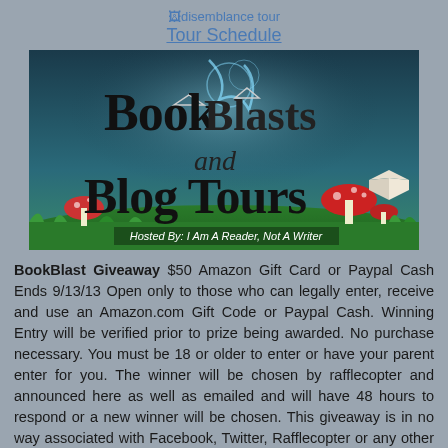disemblance tour
Tour Schedule
[Figure (illustration): Book Blasts and Blog Tours banner image with fantasy landscape background featuring mushrooms, books, paper boats, and swirling smoke. Text reads: 'Book Blasts and Blog Tours — Hosted By: I Am A Reader, Not A Writer']
BookBlast Giveaway $50 Amazon Gift Card or Paypal Cash Ends 9/13/13 Open only to those who can legally enter, receive and use an Amazon.com Gift Code or Paypal Cash. Winning Entry will be verified prior to prize being awarded. No purchase necessary. You must be 18 or older to enter or have your parent enter for you. The winner will be chosen by rafflecopter and announced here as well as emailed and will have 48 hours to respond or a new winner will be chosen. This giveaway is in no way associated with Facebook, Twitter, Rafflecopter or any other entity unless otherwise specified. The number of eligible entries received